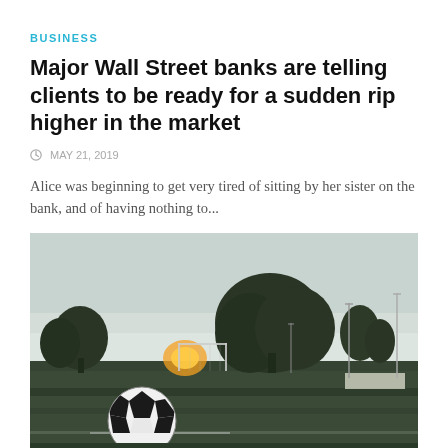BUSINESS
Major Wall Street banks are telling clients to be ready for a sudden rip higher in the market
© MAY 21, 2019
Alice was beginning to get very tired of sitting by her sister on the bank, and of having nothing to...
[Figure (photo): A soccer ball on a grass field with a goal post and trees in the background at dusk/sunset]